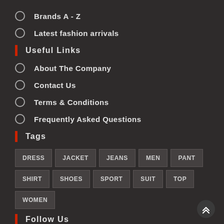Brands A - Z
Latest fashion arrivals
Useful Links
About The Company
Contact Us
Terms & Conditions
Frequently Asked Questions
Tags
DRESS
JACKET
JEANS
MEN
PANT
SHIRT
SHOES
SPORT
SUIT
TOP
WOMEN
Follow Us